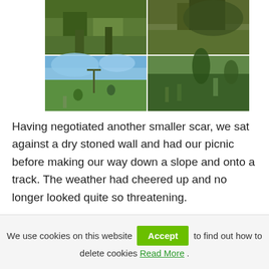[Figure (photo): A 2x2 grid of outdoor photos showing people hiking on grassy hills and moorland. Top-left shows legs/feet detail, top-right shows rocky outcrop with tree, bottom-left shows a signpost on open grassland with blue sky and clouds and people walking, bottom-right shows people walking up a grassy hillside path.]
Having negotiated another smaller scar, we sat against a dry stoned wall and had our picnic before making our way down a slope and onto a track. The weather had cheered up and no longer looked quite so threatening.
We use cookies on this website [Accept] to find out how to delete cookies Read More.